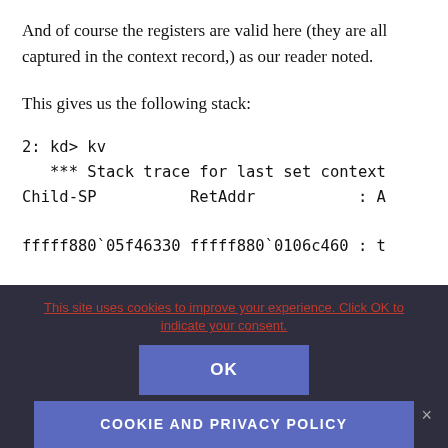And of course the registers are valid here (they are all captured in the context record,) as our reader noted.
This gives us the following stack:
2: kd> kv
   *** Stack trace for last set context
Child-SP          RetAddr           : A
fffff880`05f46330 fffff880`0106c460 : t
This site uses cookies to improve your experience. Click OK to indicate your consent.
OK
COOKIE AND PRIVACY POLICY